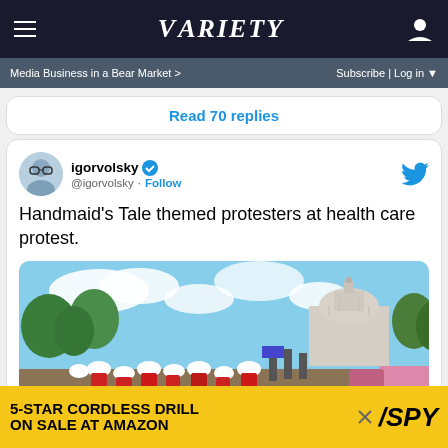VARIETY — Media Business in a Bear Market > | Subscribe | Log in
Read 70 replies
igorvolsky @igorvolsky · Follow
Handmaid's Tale themed protesters at health care protest.
[Figure (photo): Photo of protesters near the US Capitol building, with white-bonneted Handmaid's Tale themed protesters visible in the crowd.]
5-STAR CORDLESS DRILL ON SALE AT AMAZON / SPY